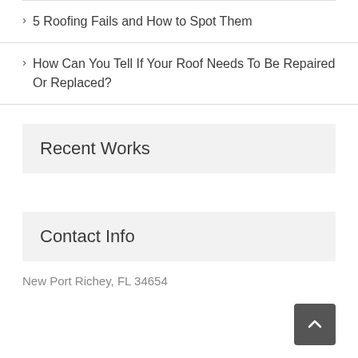5 Roofing Fails and How to Spot Them
How Can You Tell If Your Roof Needs To Be Repaired Or Replaced?
Recent Works
Contact Info
New Port Richey, FL 34654